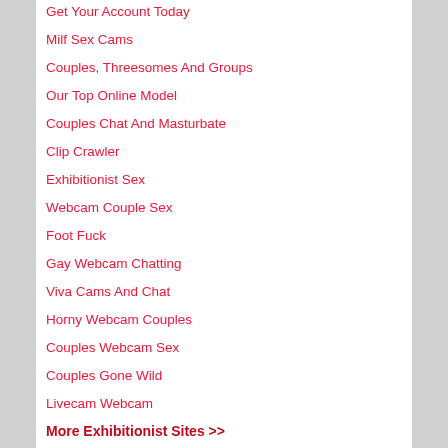Get Your Account Today
Milf Sex Cams
Couples, Threesomes And Groups
Our Top Online Model
Couples Chat And Masturbate
Clip Crawler
Exhibitionist Sex
Webcam Couple Sex
Foot Fuck
Gay Webcam Chatting
Viva Cams And Chat
Horny Webcam Couples
Couples Webcam Sex
Couples Gone Wild
Livecam Webcam
More Exhibitionist Sites >>